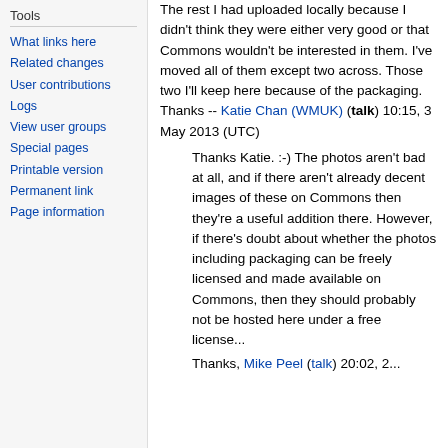Tools
What links here
Related changes
User contributions
Logs
View user groups
Special pages
Printable version
Permanent link
Page information
The rest I had uploaded locally because I didn't think they were either very good or that Commons wouldn't be interested in them. I've moved all of them except two across. Those two I'll keep here because of the packaging. Thanks -- Katie Chan (WMUK) (talk) 10:15, 3 May 2013 (UTC)
Thanks Katie. :-) The photos aren't bad at all, and if there aren't already decent images of these on Commons then they're a useful addition there. However, if there's doubt about whether the photos including packaging can be freely licensed and made available on Commons, then they should probably not be hosted here under a free license...
Thanks, Mike Peel (talk) 20:02, 2...